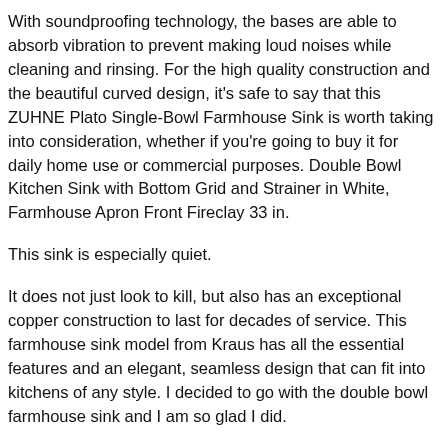With soundproofing technology, the bases are able to absorb vibration to prevent making loud noises while cleaning and rinsing. For the high quality construction and the beautiful curved design, it's safe to say that this ZUHNE Plato Single-Bowl Farmhouse Sink is worth taking into consideration, whether if you're going to buy it for daily home use or commercial purposes. Double Bowl Kitchen Sink with Bottom Grid and Strainer in White, Farmhouse Apron Front Fireclay 33 in.
This sink is especially quiet.
It does not just look to kill, but also has an exceptional copper construction to last for decades of service. This farmhouse sink model from Kraus has all the essential features and an elegant, seamless design that can fit into kitchens of any style. I decided to go with the double bowl farmhouse sink and I am so glad I did.